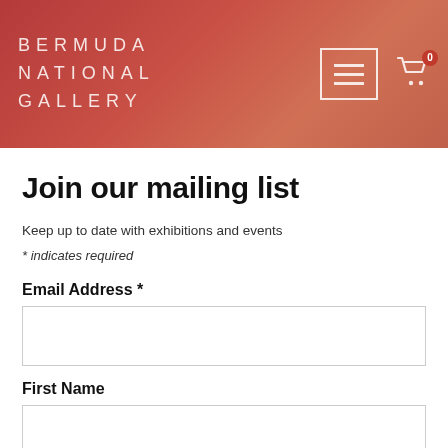BERMUDA NATIONAL GALLERY
Join our mailing list
Keep up to date with exhibitions and events
* indicates required
Email Address *
First Name
Last Name